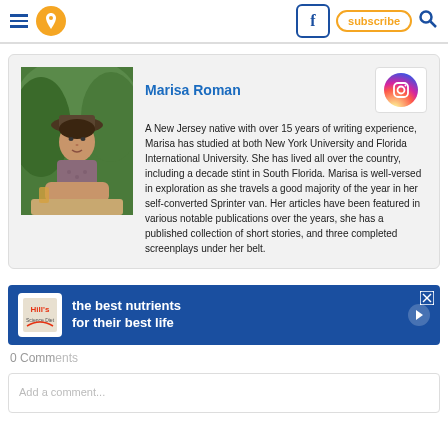Navigation bar with menu, location pin, Facebook, subscribe, and search icons
Marisa Roman
A New Jersey native with over 15 years of writing experience, Marisa has studied at both New York University and Florida International University. She has lived all over the country, including a decade stint in South Florida. Marisa is well-versed in exploration as she travels a good majority of the year in her self-converted Sprinter van. Her articles have been featured in various notable publications over the years, she has a published collection of short stories, and three completed screenplays under her belt.
[Figure (photo): Author photo of Marisa Roman sitting outdoors]
[Figure (logo): Instagram icon button]
0 Comments
[Figure (screenshot): Hill's pet nutrition advertisement: the best nutrients for their best life]
Add a comment...